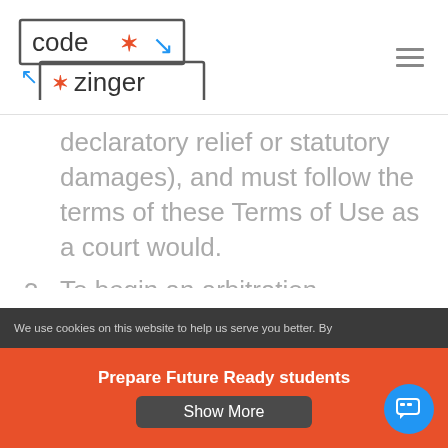[Figure (logo): codezinger logo with asterisks and arrows in blue and red]
declaratory relief or statutory damages), and must follow the terms of these Terms of Use as a court would.
3. To begin an arbitration proceeding, you must send a letter
We use cookies on this website to help us serve you better. By
Prepare Future Ready students
Show More